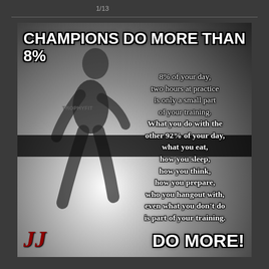1/13
[Figure (photo): Black and white motivational sports poster showing an athlete running in a gymnasium. Features bold text overlay with motivational quote about champions doing more than 8% of their training at practice.]
CHAMPIONS DO MORE THAN 8%
8% of your day, two hours at practice is only a small part of your training. What you do with the other 92% of your day, what you eat, how you sleep, how you think, how you prepare, who you hangout with, even what you don't do is part of your training.
DO MORE!